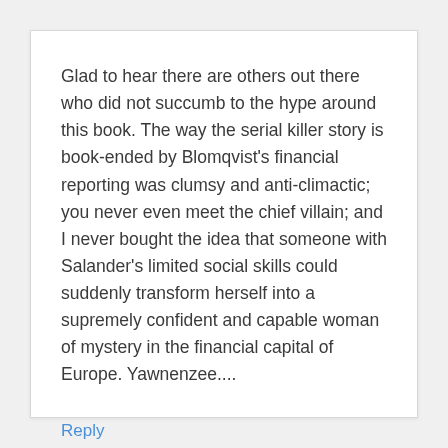Glad to hear there are others out there who did not succumb to the hype around this book. The way the serial killer story is book-ended by Blomqvist's financial reporting was clumsy and anti-climactic; you never even meet the chief villain; and I never bought the idea that someone with Salander's limited social skills could suddenly transform herself into a supremely confident and capable woman of mystery in the financial capital of Europe. Yawnenzee....
Reply